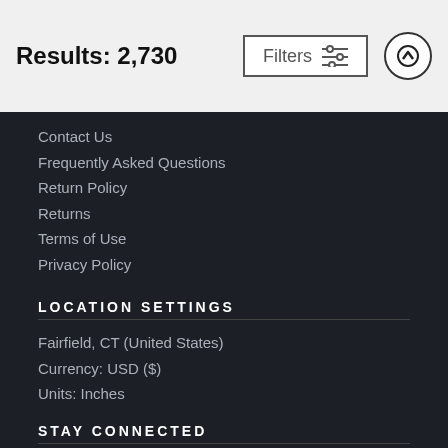Results: 2,730
Contact Us
Frequently Asked Questions
Return Policy
Returns
Terms of Use
Privacy Policy
LOCATION SETTINGS
Fairfield, CT (United States)
Currency: USD ($)
Units: Inches
STAY CONNECTED
Sign up for our newsletter for exclusive deals, discount codes, and more.
[Figure (other): Social media icons: Facebook, Twitter, Instagram, Pinterest, YouTube]